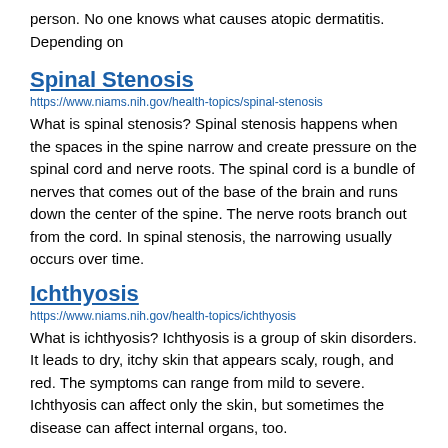person. No one knows what causes atopic dermatitis. Depending on
Spinal Stenosis
https://www.niams.nih.gov/health-topics/spinal-stenosis
What is spinal stenosis? Spinal stenosis happens when the spaces in the spine narrow and create pressure on the spinal cord and nerve roots. The spinal cord is a bundle of nerves that comes out of the base of the brain and runs down the center of the spine. The nerve roots branch out from the cord. In spinal stenosis, the narrowing usually occurs over time.
Ichthyosis
https://www.niams.nih.gov/health-topics/ichthyosis
What is ichthyosis? Ichthyosis is a group of skin disorders. It leads to dry, itchy skin that appears scaly, rough, and red. The symptoms can range from mild to severe. Ichthyosis can affect only the skin, but sometimes the disease can affect internal organs, too.
Osteopetrosis
https://www.niams.nih.gov/health-topics/osteopetrosis
What is osteopetrosis? Osteopetrosis is a rare disorder that causes bones to grow abnormally and become too dense. When this